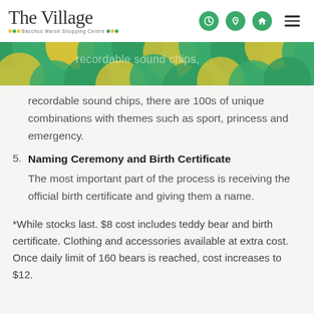The Village — Bacchus Marsh Shopping Centre
[Figure (illustration): Decorative banner with green and yellow hexagonal/circular pattern]
recordable sound chips, there are 100s of unique combinations with themes such as sport, princess and emergency.
5. Naming Ceremony and Birth Certificate — The most important part of the process is receiving the official birth certificate and giving them a name.
*While stocks last. $8 cost includes teddy bear and birth certificate. Clothing and accessories available at extra cost. Once daily limit of 160 bears is reached, cost increases to $12.